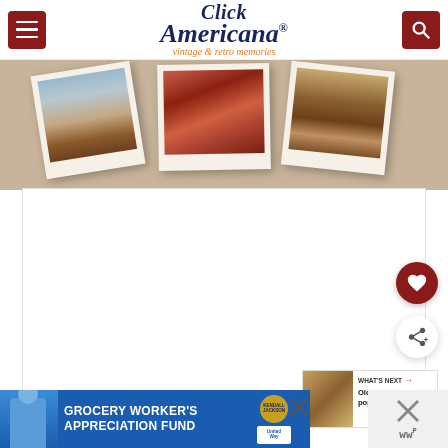Click Americana – vintage & retro memories
[Figure (photo): Three overlapping Polaroid-style photos of vintage pies and baked goods arranged in a fan layout]
[Figure (other): White content/ad placeholder area with three dot navigation indicators]
[Figure (other): Heart (favorite) button – dark red circular FAB]
[Figure (other): Share button – white circular FAB with share icon]
[Figure (other): What's Next panel showing thumbnail and text: Old-fashioned popcorn ball...]
[Figure (other): Advertisement banner: Grocery Worker's Appreciation Fund with Kendall-Jackson and United Way logos]